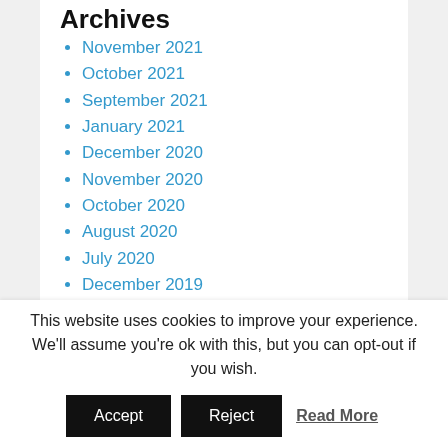Archives
November 2021
October 2021
September 2021
January 2021
December 2020
November 2020
October 2020
August 2020
July 2020
December 2019
November 2019
October 2019
March 2019
February 2019
January 2019
This website uses cookies to improve your experience. We'll assume you're ok with this, but you can opt-out if you wish.